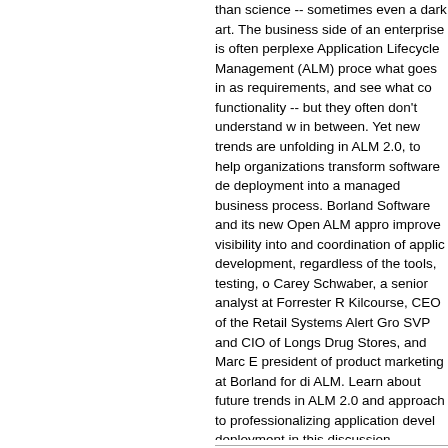than science -- sometimes even a dark art. The business side of an enterprise is often perplexed Application Lifecycle Management (ALM) process what goes in as requirements, and see what co functionality -- but they often don't understand w in between. Yet new trends are unfolding in ALM 2.0, to help organizations transform software de deployment into a managed business process. Borland Software and its new Open ALM appro improve visibility into and coordination of applic development, regardless of the tools, testing, o Carey Schwaber, a senior analyst at Forrester R Kilcourse, CEO of the Retail Systems Alert Gro SVP and CIO of Longs Drug Stores, and Marc president of product marketing at Borland for di ALM. Learn about future trends in ALM 2.0 and approach to professionalizing application devel deployment in this discussion, moderated by In Solutions Principal Analyst Dana Gardner. Read of the discussion at http://briefingsdirect.blogspot.com/2007/04/tran briefingsdirect-podcast.html. Sponsor: Borland S
Direct download: BriefingsDirect_Borland3.mp3
Category:B2B Informational Podcast -- posted at: 3:20pm